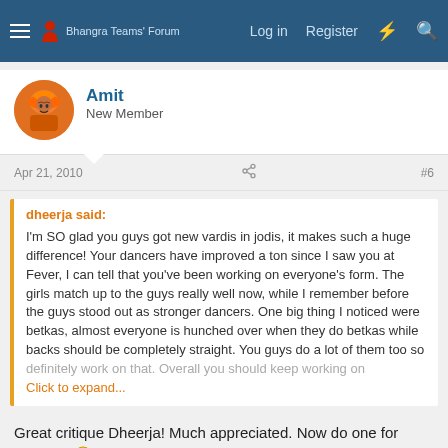Bhangra Teams' Forum — Log in  Register
Amit
New Member
Apr 21, 2010  #6
dheerja said:
I'm SO glad you guys got new vardis in jodis, it makes such a huge difference! Your dancers have improved a ton since I saw you at Fever, I can tell that you've been working on everyone's form. The girls match up to the guys really well now, while I remember before the guys stood out as stronger dancers. One big thing I noticed were betkas, almost everyone is hunched over when they do betkas while backs should be completely straight. You guys do a lot of them too so definitely work on that. Overall you should keep working on
Click to expand...
Great critique Dheerja! Much appreciated. Now do one for Cornell! 🙂